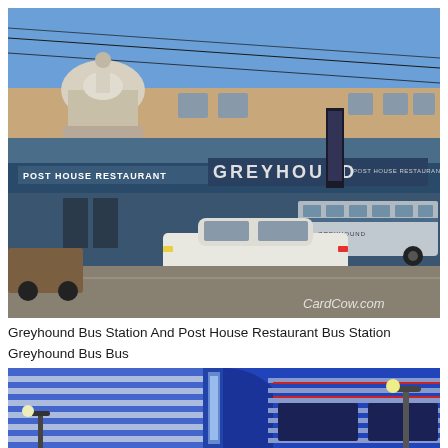[Figure (photo): Vintage color photograph of a Greyhound Bus Station with Post House Restaurant. A large horizontal building with blue and white signage reading 'POST HOUSE RESTAURANT' and 'GREYHOUND'. A Greyhound bus is parked at the station and a white car is in the foreground. A domed building (courthouse) is visible behind. Watermark reads 'CardCow.com'.]
Greyhound Bus Station And Post House Restaurant Bus Station Greyhound Bus Bus
[Figure (photo): Partial photograph of a modern blue and white tiled building exterior with curved glass corners, blue horizontal stripe paneling, and a streetlight in the foreground. The building appears to be a bus station or transit facility.]